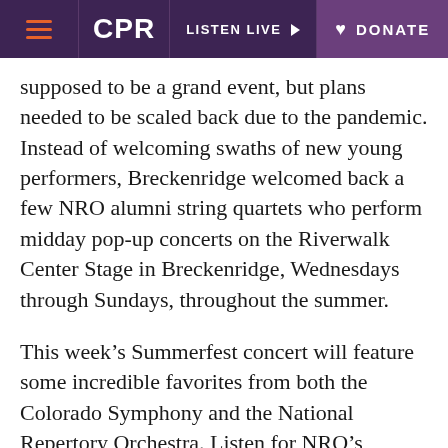CPR | LISTEN LIVE | DONATE
supposed to be a grand event, but plans needed to be scaled back due to the pandemic. Instead of welcoming swaths of new young performers, Breckenridge welcomed back a few NRO alumni string quartets who perform midday pop-up concerts on the Riverwalk Center Stage in Breckenridge, Wednesdays through Sundays, throughout the summer.
This week’s Summerfest concert will feature some incredible favorites from both the Colorado Symphony and the National Repertory Orchestra. Listen for NRO’s performances of Arturo Marquez’s “Danzon no. 2, the Colas Breugnon Overture” by Kabalevsky, and Mussorgsky’s “Pictures at an